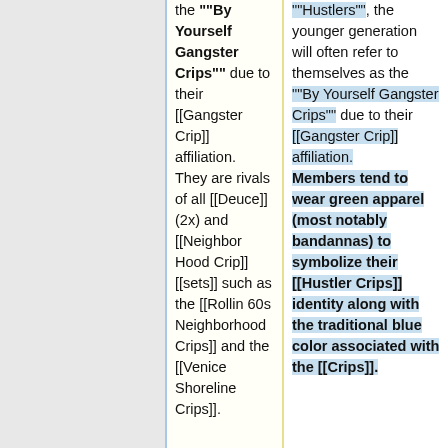the ""By Yourself Gangster Crips"" due to their [[Gangster Crip]] affiliation.  They are rivals of all [[Deuce]](2x) and [[Neighbor Hood Crip]] [[sets]] such as the [[Rollin 60s Neighborhood Crips]] and the [[Venice Shoreline Crips]].
""Hustlers"", the younger generation will often refer to themselves as the ""By Yourself Gangster Crips"" due to their [[Gangster Crip]] affiliation. Members tend to wear green apparel (most notably bandannas) to symbolize their [[Hustler Crips]] identity along with the traditional blue color associated with the [[Crips]].